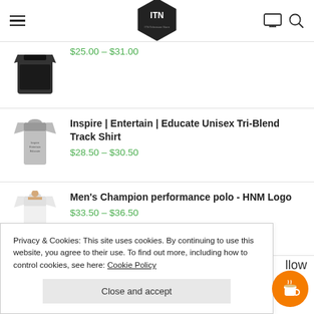ITN store navigation header with hamburger menu, ITN hexagon logo, monitor icon, and search icon
$25.00 – $31.00
[Figure (photo): Gray unisex t-shirt product thumbnail]
Inspire | Entertain | Educate Unisex Tri-Blend Track Shirt
$28.50 – $30.50
[Figure (photo): White men's polo shirt product thumbnail]
Men's Champion performance polo - HNM Logo
$33.50 – $36.50
Privacy & Cookies: This site uses cookies. By continuing to use this website, you agree to their use. To find out more, including how to control cookies, see here: Cookie Policy
Close and accept